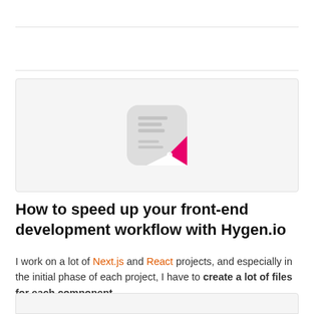[Figure (logo): Hygen.io app icon — a rounded square with light gray background showing faint text lines, with a white paper curl and hot pink/magenta accent in the bottom-right corner]
How to speed up your front-end development workflow with Hygen.io
I work on a lot of Next.js and React projects, and especially in the initial phase of each project, I have to create a lot of files for each component.